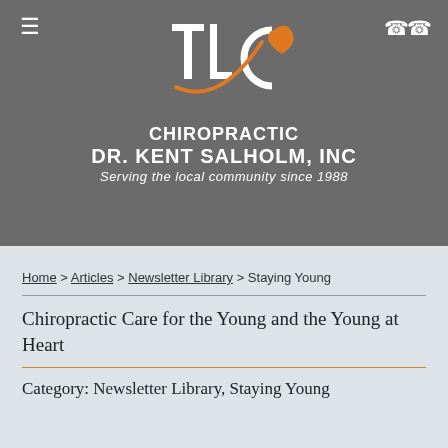[Figure (logo): TLC Chiropractic logo with stylized TLC letters and orange heart/swoosh design on gray background]
CHIROPRACTIC
DR. KENT SALHOLM, INC
Serving the local community since 1988
Home > Articles > Newsletter Library > Staying Young
Chiropractic Care for the Young and the Young at Heart
Category: Newsletter Library, Staying Young